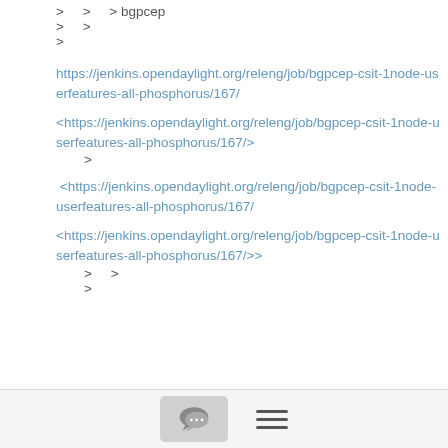>   >   > bgpcep
>   >
>
https://jenkins.opendaylight.org/releng/job/bgpcep-csit-1node-userfeatures-all-phosphorus/167/
<https://jenkins.opendaylight.org/releng/job/bgpcep-csit-1node-userfeatures-all-phosphorus/167/>
    >
<https://jenkins.opendaylight.org/releng/job/bgpcep-csit-1node-userfeatures-all-phosphorus/167/
<https://jenkins.opendaylight.org/releng/job/bgpcep-csit-1node-userfeatures-all-phosphorus/167/>>
    >   >
    >